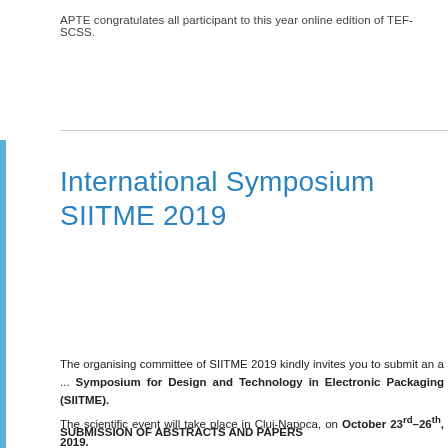APTE congratulates all participant to this year online edition of TEF-SCSS.
International Symposium SIITME 2019
The organising committee of SIITME 2019 kindly invites you to submit an a... Symposium for Design and Technology in Electronic Packaging (SIITME). The scientific event will take place in Cluj-Napoca, on October 23rd–26th, 2019.
SUBMISSION OF ABSTRACTS AND PAPERS